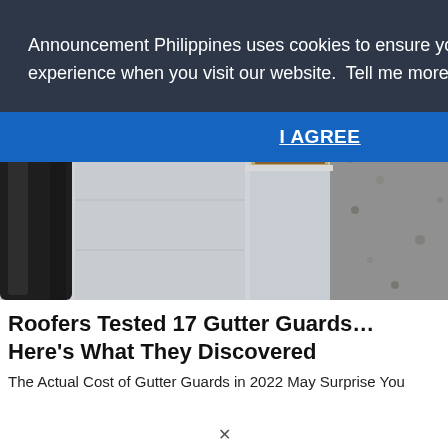[Figure (photo): A composite photograph showing a dirty gutter with debris and a dark pipe on the left, a white wall panel in the center, and a gravel/stone surface on the right.]
Announcement Philippines uses cookies to ensure you get the best experience when you visit our website.  Tell me more!
I AGREE
Roofers Tested 17 Gutter Guards… Here's What They Discovered
The Actual Cost of Gutter Guards in 2022 May Surprise You